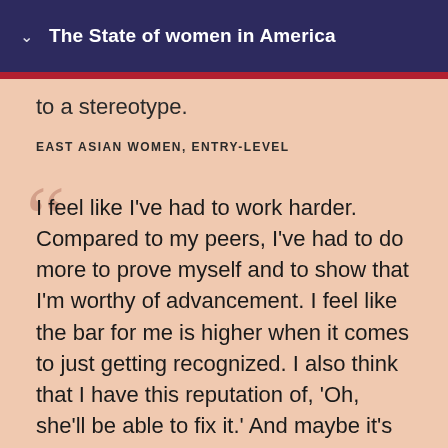The State of women in America
to a stereotype.
EAST ASIAN WOMEN, ENTRY-LEVEL
I feel like I've had to work harder. Compared to my peers, I've had to do more to prove myself and to show that I'm worthy of advancement. I feel like the bar for me is higher when it comes to just getting recognized. I also think that I have this reputation of, 'Oh, she'll be able to fix it.' And maybe it's because they expect that I'm probably going to work myself to death to get